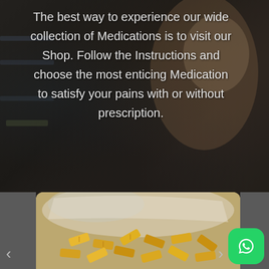[Figure (photo): Dark-toned photo of a smiling blonde woman (pharmacist) against a blurred pharmacy shelf background, serving as the backdrop for overlay text]
The best way to experience our wide collection of Medications is to visit our Shop. Follow the Instructions and choose the most enticing Medication to satisfy your pains with or without prescription.
[Figure (photo): Close-up photo of yellow rectangular pill/bar tablets inside a plastic ziplock bag]